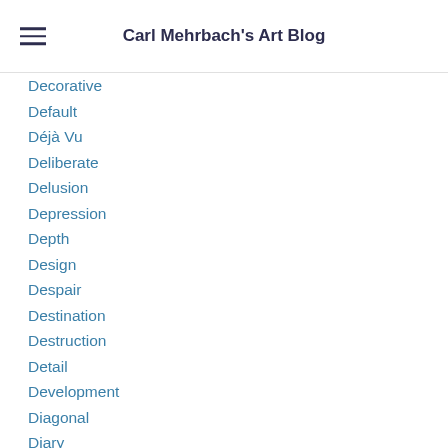Carl Mehrbach's Art Blog
Decorative
Default
Déjà Vu
Deliberate
Delusion
Depression
Depth
Design
Despair
Destination
Destruction
Detail
Development
Diagonal
Diary
Dichotomy
Different
Difficult